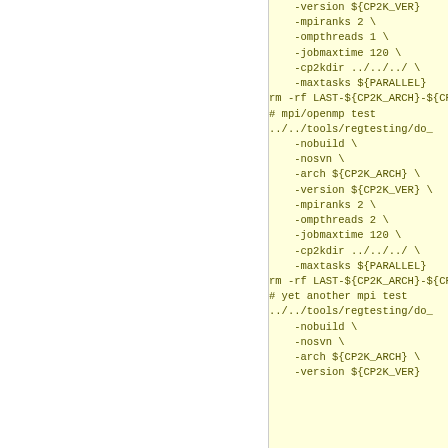-version ${CP2K_VER} \
            -mpiranks 2 \
            -ompthreads 1 \
            -jobmaxtime 120 \
            -cp2kdir ../../../ \
            -maxtasks ${PARALLEL}
rm -rf LAST-${CP2K_ARCH}-${CP2...
# mpi/openmp test
../../tools/regtesting/do_...
            -nobuild \
            -nosvn \
            -arch ${CP2K_ARCH} \
            -version ${CP2K_VER} \
            -mpiranks 2 \
            -ompthreads 2 \
            -jobmaxtime 120 \
            -cp2kdir ../../../ \
            -maxtasks ${PARALLEL}
rm -rf LAST-${CP2K_ARCH}-${CP2...
# yet another mpi test
../../tools/regtesting/do_...
            -nobuild \
            -nosvn \
            -arch ${CP2K_ARCH} \
            -version ${CP2K_VER}